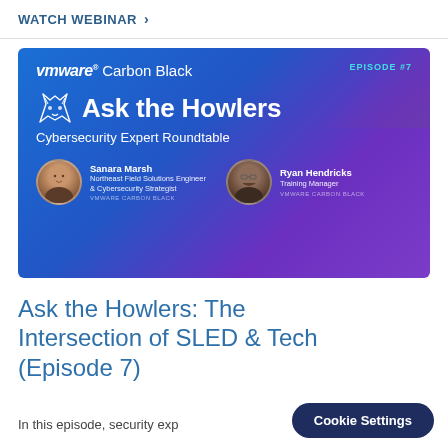WATCH WEBINAR ›
[Figure (screenshot): VMware Carbon Black 'Ask the Howlers' Cybersecurity Expert Roundtable Episode #7 banner featuring Sanara Marsh (Northeast Field Solutions Engineer & Cybersecurity Strategist) and Ryan Hendricks (Training Manager) from VMware Carbon Black]
Ask the Howlers: The Intersection of SLED & Tech (Episode 7)
In this episode, security exp